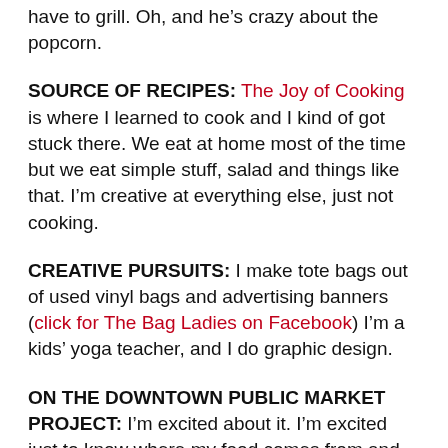have to grill. Oh, and he’s crazy about the popcorn.
SOURCE OF RECIPES: The Joy of Cooking is where I learned to cook and I kind of got stuck there. We eat at home most of the time but we eat simple stuff, salad and things like that. I’m creative at everything else, just not cooking.
CREATIVE PURSUITS: I make tote bags out of used vinyl bags and advertising banners (click for The Bag Ladies on Facebook) I’m a kids’ yoga teacher, and I do graphic design.
ON THE DOWNTOWN PUBLIC MARKET PROJECT: I’m excited about it. I’m excited just to know where my food comes from and to know I’ll be feeding my family healthy food, things that are fresh and in season. The market will be like a Ranch Foods Direct store only with even more variety. I think that makes it easier